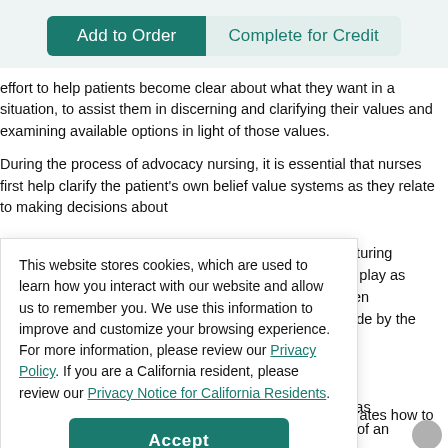[Figure (screenshot): Two buttons: 'Add to Order' (dark teal, filled) and 'Complete for Credit' (light teal, outline style)]
effort to help patients become clear about what they want in a situation, to assist them in discerning and clarifying their values and examining available options in light of those values.
During the process of advocacy nursing, it is essential that nurses first help clarify the patient's own belief value systems as they relate to making decisions about
This website stores cookies, which are used to learn how you interact with our website and allow us to remember you. We use this information to improve and customize your browsing experience. For more information, please review our Privacy Policy. If you are a California resident, please review our Privacy Notice for California Residents.
nurturing
ito play as
reen
nade by the
ig as
re of an
than
ime, caring
Accept
stops short of paternalism in that the nurse merely illustrates how to make an